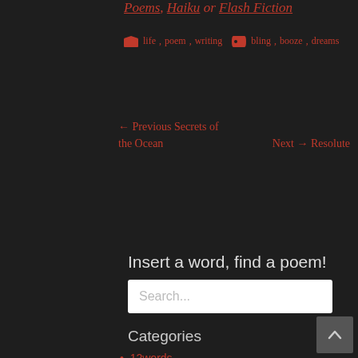Poems, Haiku or Flash Fiction
life, poem, writing   bling, booze, dreams
← Previous Secrets of the Ocean   Next → Resolute
Insert a word, find a poem!
Search...
Categories
12words
chronic illness
dizzy
family
flash fiction
haiku
humour
life